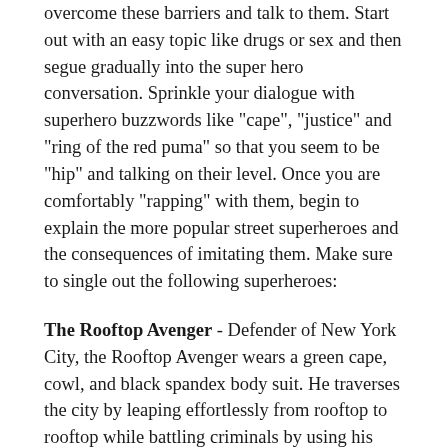overcome these barriers and talk to them. Start out with an easy topic like drugs or sex and then segue gradually into the super hero conversation. Sprinkle your dialogue with superhero buzzwords like "cape", "justice" and "ring of the red puma" so that you seem to be "hip" and talking on their level. Once you are comfortably "rapping" with them, begin to explain the more popular street superheroes and the consequences of imitating them. Make sure to single out the following superheroes:
The Rooftop Avenger - Defender of New York City, the Rooftop Avenger wears a green cape, cowl, and black spandex body suit. He traverses the city by leaping effortlessly from rooftop to rooftop while battling criminals by using his patented dive attack. When he spots villains on the street below, he dives head first off the